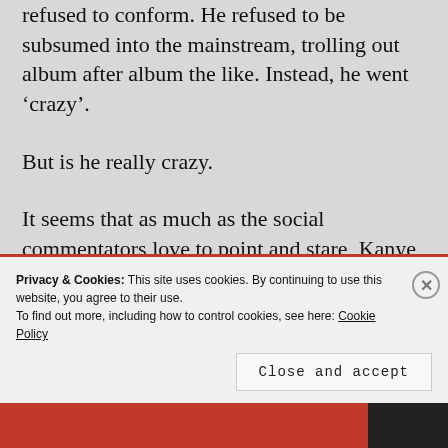refused to conform. He refused to be subsumed into the mainstream, trolling out album after album the like. Instead, he went ‘crazy’.
But is he really crazy.
It seems that as much as the social commentators love to point and stare, Kanye doesn’t care and for good reason; he makes a lot of money and does what he enjoys
Privacy & Cookies: This site uses cookies. By continuing to use this website, you agree to their use. To find out more, including how to control cookies, see here: Cookie Policy
Close and accept